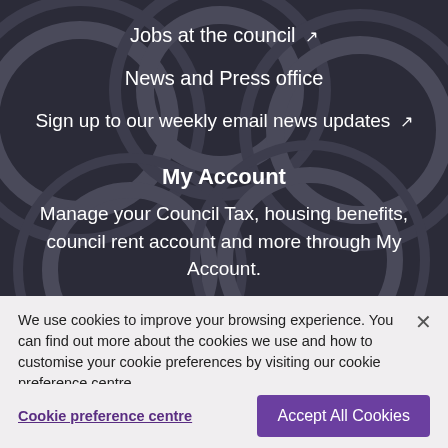Jobs at the council ↗
News and Press office
Sign up to our weekly email news updates ↗
My Account
Manage your Council Tax, housing benefits, council rent account and more through My Account.
We use cookies to improve your browsing experience. You can find out more about the cookies we use and how to customise your cookie preferences by visiting our cookie preference centre
You can also read our cookies policy
Cookie preference centre
Accept All Cookies